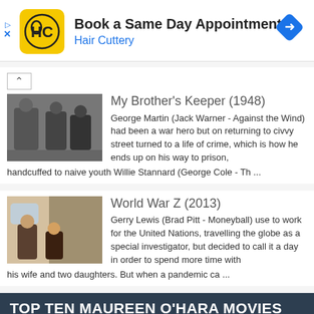[Figure (infographic): Hair Cuttery ad banner with yellow HC logo, text 'Book a Same Day Appointment' and 'Hair Cuttery' in blue, blue diamond navigation icon on right]
My Brother's Keeper (1948)
George Martin (Jack Warner - Against the Wind) had been a war hero but on returning to civvy street turned to a life of crime, which is how he ends up on his way to prison, handcuffed to naive youth Willie Stannard (George Cole - Th ...
World War Z (2013)
Gerry Lewis (Brad Pitt - Moneyball) use to work for the United Nations, travelling the globe as a special investigator, but decided to call it a day in order to spend more time with his wife and two daughters. But when a pandemic ca ...
[Figure (screenshot): Dark blue banner with text 'TOP TEN MAUREEN O'HARA MOVIES' and partial movie still image below]